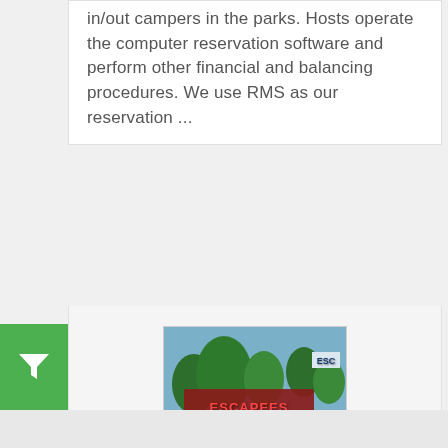in/out campers in the parks. Hosts operate the computer reservation software and perform other financial and balancing procedures. We use RMS as our reservation ...
[Figure (photo): Photo of Escapees RV Parks signage with trees in background]
Escapees RV Parks
Posted in: Hospitality & Food Service small Workcamping
Save job